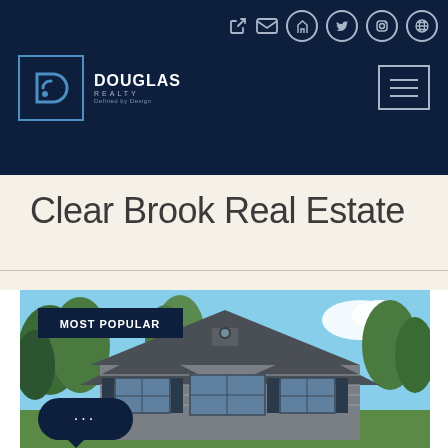[Figure (logo): Douglas Realty logo with D icon on dark navy header background]
Clear Brook Real Estate
[Figure (photo): Residential house with dark roof, siding, surrounded by trees under blue sky, with MOST POPULAR badge overlay and chat widget in lower left]